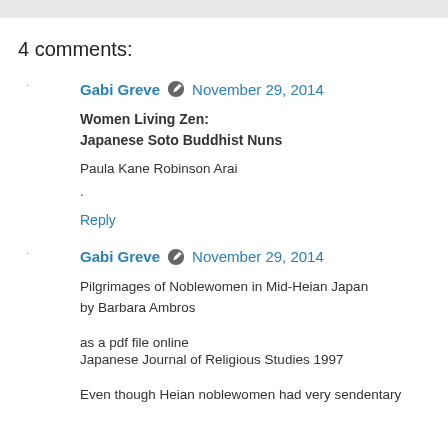4 comments:
Gabi Greve  November 29, 2014
Women Living Zen:
Japanese Soto Buddhist Nuns
Paula Kane Robinson Arai
.
Reply
Gabi Greve  November 29, 2014
Pilgrimages of Noblewomen in Mid-Heian Japan
by Barbara Ambros

as a pdf file online
Japanese Journal of Religious Studies 1997

Even though Heian noblewomen had very sendentary